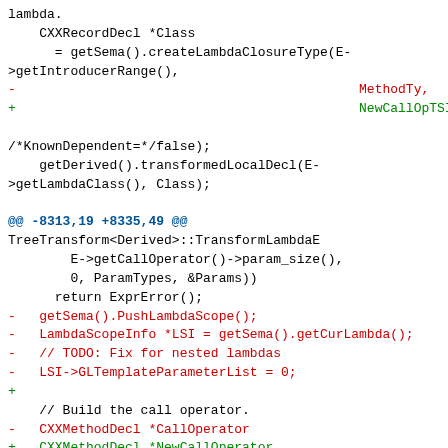lambda.
    CXXRecordDecl *Class
      = getSema().createLambdaClosureType(E->getIntroducerRange(),
-                                            MethodTy,
+                                            NewCallOpTSI,

/*KnownDependent=*/false);
    getDerived().transformedLocalDecl(E->getLambdaClass(), Class);

@@ -8313,19 +8335,49 @@
TreeTransform<Derived>::TransformLambdaE
        E->getCallOperator()->param_size(),
        0, ParamTypes, &Params))
      return ExprError();
-   getSema().PushLambdaScope();
-   LambdaScopeInfo *LSI = getSema().getCurLambda();
-   // TODO: Fix for nested lambdas
-   LSI->GLTemplateParameterList = 0;
+
    // Build the call operator.
-   CXXMethodDecl *CallOperator
+   CXXMethodDecl *NewCallOperator
      = getSema().startLambdaDefinition(Class, E->getIntroducerRange(),
-                                        MethodTy,
+                                        NewCallOpTSI,
                                         E->getCallOperator()->getLocEnd(),